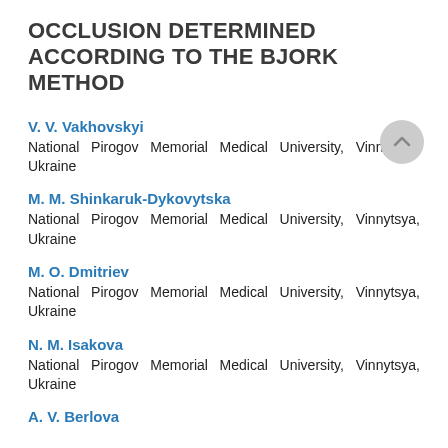OCCLUSION DETERMINED ACCORDING TO THE BJORK METHOD
V. V. Vakhovskyi
National Pirogov Memorial Medical University, Vinnytsya, Ukraine
M. M. Shinkaruk-Dykovytska
National Pirogov Memorial Medical University, Vinnytsya, Ukraine
M. O. Dmitriev
National Pirogov Memorial Medical University, Vinnytsya, Ukraine
N. M. Isakova
National Pirogov Memorial Medical University, Vinnytsya, Ukraine
A. V. Berlova